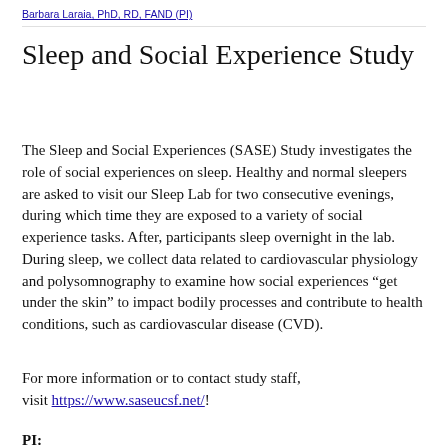Barbara Laraia, PhD, RD, FAND (PI)
Sleep and Social Experience Study
The Sleep and Social Experiences (SASE) Study investigates the role of social experiences on sleep. Healthy and normal sleepers are asked to visit our Sleep Lab for two consecutive evenings, during which time they are exposed to a variety of social experience tasks. After, participants sleep overnight in the lab. During sleep, we collect data related to cardiovascular physiology and polysomnography to examine how social experiences “get under the skin” to impact bodily processes and contribute to health conditions, such as cardiovascular disease (CVD).
For more information or to contact study staff, visit https://www.saseucsf.net/!
PI: